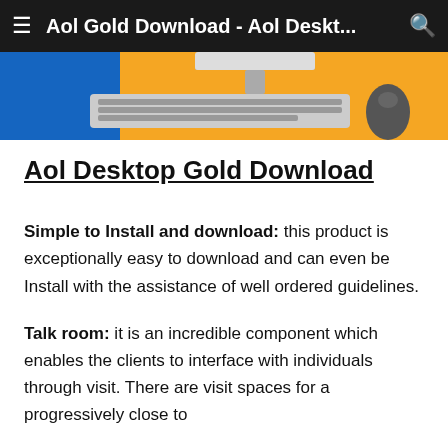Aol Gold Download - Aol Deskt...
[Figure (photo): Banner image showing a keyboard, computer monitor, and mouse on an orange and blue background]
Aol Desktop Gold Download
Simple to Install and download: this product is exceptionally easy to download and can even be Install with the assistance of well ordered guidelines.
Talk room: it is an incredible component which enables the clients to interface with individuals through visit. There are visit spaces for a progressively close to